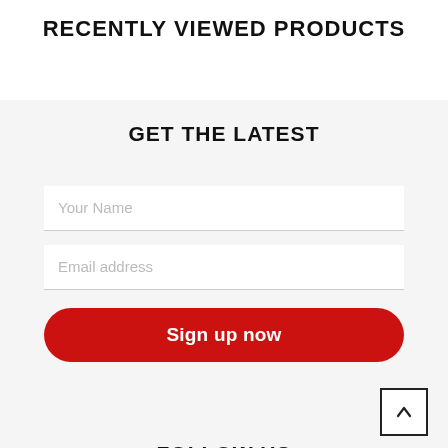RECENTLY VIEWED PRODUCTS
GET THE LATEST
Your Name
Email address
Sign up now
FOLLOW US